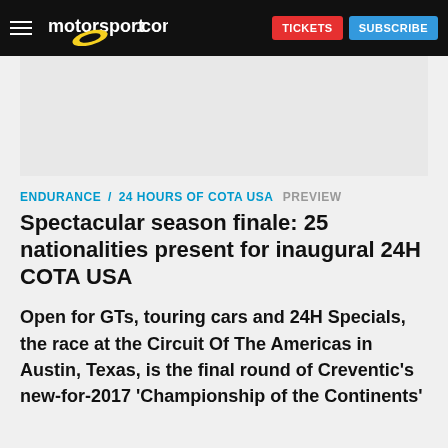motorsport.com | TICKETS | SUBSCRIBE
ENDURANCE / 24 HOURS OF COTA USA   PREVIEW
Spectacular season finale: 25 nationalities present for inaugural 24H COTA USA
Open for GTs, touring cars and 24H Specials, the race at the Circuit Of The Americas in Austin, Texas, is the final round of Creventic’s new-for-2017 ‘Championship of the Continents’